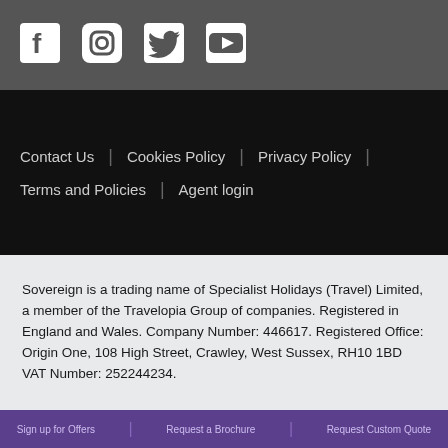[Figure (other): Social media icons bar: Facebook, Instagram, Twitter, YouTube icons in white on dark grey background]
Contact Us | Cookies Policy | Privacy Policy | Terms and Policies | Agent login
Sovereign is a trading name of Specialist Holidays (Travel) Limited, a member of the Travelopia Group of companies. Registered in England and Wales. Company Number: 446617. Registered Office: Origin One, 108 High Street, Crawley, West Sussex, RH10 1BD VAT Number: 252244234.
Sign up for Offers | Request a Brochure | Request Custom Quote